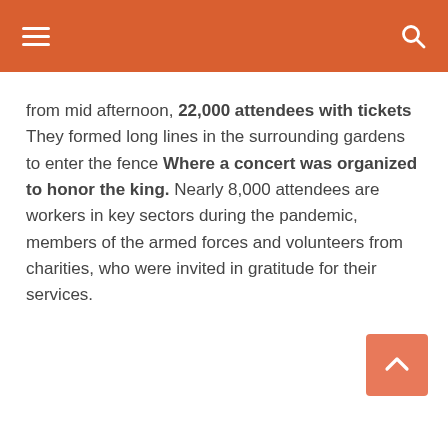from mid afternoon, 22,000 attendees with tickets They formed long lines in the surrounding gardens to enter the fence Where a concert was organized to honor the king. Nearly 8,000 attendees are workers in key sectors during the pandemic, members of the armed forces and volunteers from charities, who were invited in gratitude for their services.